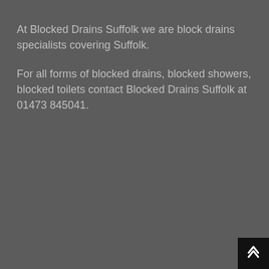At Blocked Drains Suffolk we are block drains specialists covering Suffolk.
For all forms of blocked drains, blocked showers, blocked toilets contact Blocked Drains Suffolk at 01473 845041.
[Figure (screenshot): Cookie consent modal popup with teal background. Contains privacy policy message, link to read privacy and cookie policy, and two buttons: Decline and Accept.]